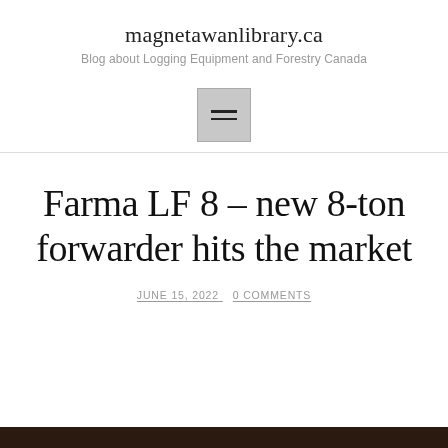magnetawanlibrary.ca
Blog about Logging Equipment and Forestry Canada
[Figure (illustration): Hamburger menu icon: a gray square box with two horizontal lines inside, representing a navigation menu button]
Farma LF 8 – new 8-ton forwarder hits the market
JUNE 15, 2022   0 COMMENTS
[Figure (photo): Bottom strip showing the top edge of a dark photograph, likely of forestry/logging equipment]